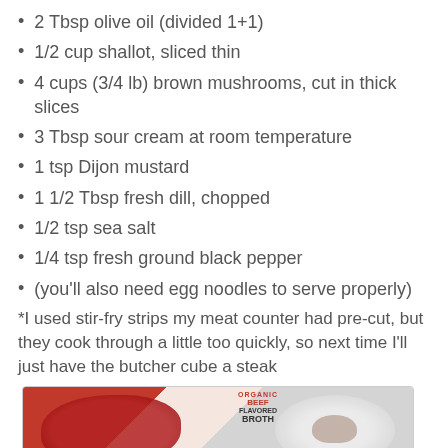2 Tbsp olive oil (divided 1+1)
1/2 cup shallot, sliced thin
4 cups (3/4 lb) brown mushrooms, cut in thick slices
3 Tbsp sour cream at room temperature
1 tsp Dijon mustard
1 1/2 Tbsp fresh dill, chopped
1/2 tsp sea salt
1/4 tsp fresh ground black pepper
(you'll also need egg noodles to serve properly)
*I used stir-fry strips my meat counter had pre-cut, but they cook through a little too quickly, so next time I'll just have the butcher cube a steak
[Figure (photo): Photo showing a bowl of raw meat pieces and a container of Organic Beef Flavored Broth next to a bowl of sliced mushrooms]